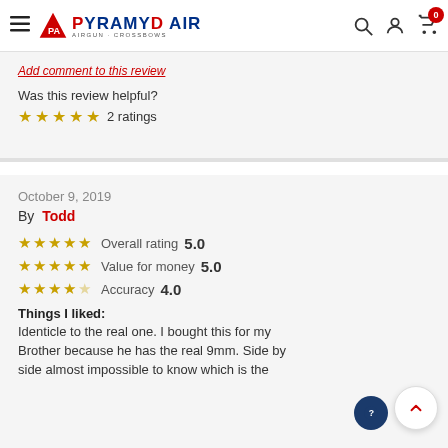Pyramyd Air - Airgun + Crossbows
Add comment to this review
Was this review helpful?
★★★★★ 2 ratings
October 9, 2019
By Todd
★★★★★ Overall rating 5.0
★★★★★ Value for money 5.0
★★★★☆ Accuracy 4.0
Things I liked:
Identicle to the real one. I bought this for my Brother because he has the real 9mm. Side by side almost impossible to know which is the